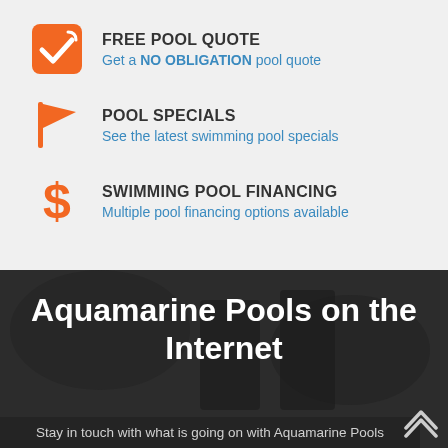FREE POOL QUOTE
Get a NO OBLIGATION pool quote
POOL SPECIALS
See the latest swimming pool specials
SWIMMING POOL FINANCING
Multiple pool financing options available
Aquamarine Pools on the Internet
Stay in touch with what is going on with Aquamarine Pools